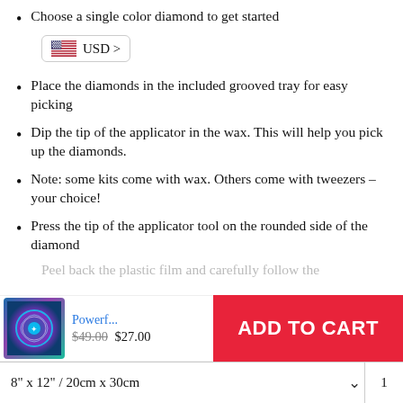Choose a single color diamond to get started
[Figure (other): USD currency selector button with US flag icon]
Place the diamonds in the included grooved tray for easy picking
Dip the tip of the applicator in the wax. This will help you pick up the diamonds.
Note: some kits come with wax. Others come with tweezers – your choice!
Press the tip of the applicator tool on the rounded side of the diamond
Peel back the plastic film and carefully follow the...
[Figure (other): Sticky add-to-cart bar with product thumbnail, name Powerf..., original price $49.00, sale price $27.00, and ADD TO CART button]
Repeat the process until you're done.
8" x 12" / 20cm x 30cm  ∨  1